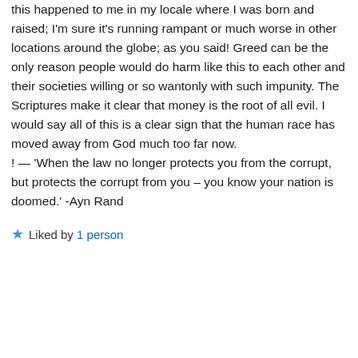this happened to me in my locale where I was born and raised; I'm sure it's running rampant or much worse in other locations around the globe; as you said! Greed can be the only reason people would do harm like this to each other and their societies willing or so wantonly with such impunity. The Scriptures make it clear that money is the root of all evil. I would say all of this is a clear sign that the human race has moved away from God much too far now.
! — 'When the law no longer protects you from the corrupt, but protects the corrupt from you – you know your nation is doomed.' -Ayn Rand
Liked by 1 person